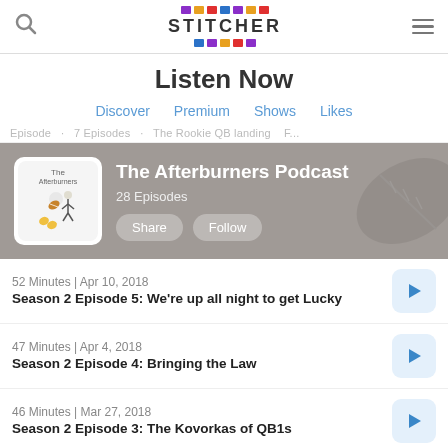Stitcher — Search, Listen Now, Menu
Listen Now
Discover  Premium  Shows  Likes
Episode 5 · The Rookie QB landing...
[Figure (screenshot): The Afterburners Podcast banner with podcast art, 28 Episodes, Share and Follow buttons on a grey background with football imagery]
52 Minutes | Apr 10, 2018
Season 2 Episode 5: We're up all night to get Lucky
47 Minutes | Apr 4, 2018
Season 2 Episode 4: Bringing the Law
46 Minutes | Mar 27, 2018
Season 2 Episode 3: The Kovorkas of QB1s